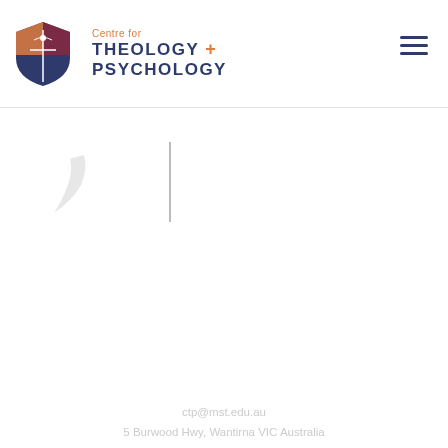[Figure (logo): Centre for Theology + Psychology logo with shield icon in header navigation bar]
[Figure (logo): MST (Melbourne School of Theology) logo and Eastern College Australia logo side by side on grey banner]
[Figure (logo): Centre for Theology + Psychology large white logo on dark grey background with shield icon]
ctp@mst.edu.au
5 Burwood Hwy, Wantirna VIC Australia